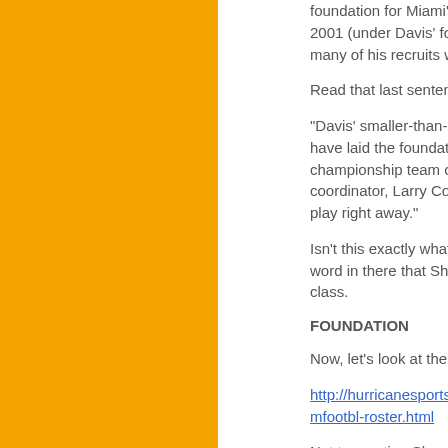foundation for Miami's unde... 2001 (under Davis' former of... many of his recruits were for...
Read that last sentence agai...
"Davis' smaller-than-usual re... have laid the foundation for M... championship team of 2001 (... coordinator, Larry Coker), si... play right away."
Isn't this exactly what Shann... word in there that Shannon u... class.
FOUNDATION
Now, let's look at the entire r...
http://hurricanesports.cstv.co...mfootbl-roster.html
Not to mention Shannon save... Cooper. Could you imagine if... had another year with Kirby F... Freeman couldn't even start...